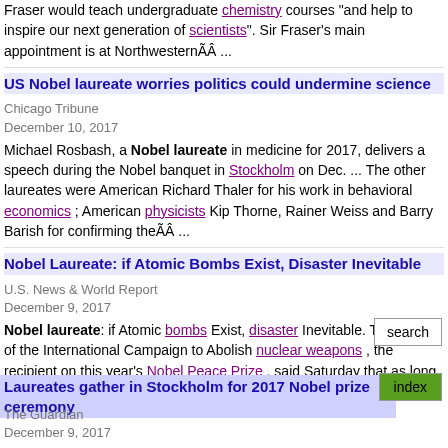Fraser would teach undergraduate chemistry courses "and help to inspire our next generation of scientists". Sir Fraser's main appointment is at NorthwesternÃÃ ...
US Nobel laureate worries politics could undermine science
Chicago Tribune
December 10, 2017
Michael Rosbash, a Nobel laureate in medicine for 2017, delivers a speech during the Nobel banquet in Stockholm on Dec. ... The other laureates were American Richard Thaler for his work in behavioral economics ; American physicists Kip Thorne, Rainer Weiss and Barry Barish for confirming theÃÃ ...
Nobel Laureate: if Atomic Bombs Exist, Disaster Inevitable
U.S. News & World Report
December 9, 2017
Nobel laureate: if Atomic bombs Exist, disaster Inevitable. The head of the International Campaign to Abolish nuclear weapons , the recipient on this year's Nobel Peace Prize , said Saturday that as long as atomic bombs exist, a disaster is inevitable. Dec. 9, 2017, at 8:42 a.m.. Nobel laureate: if Atomic Bombs Exist,ÃÃ ...
Laureates gather in Stockholm for 2017 Nobel prize ceremony
The Guardian
December 9, 2017